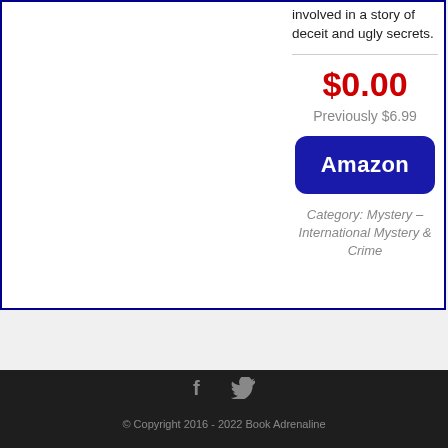involved in a story of deceit and ugly secrets.
$0.00
Previously $6.99
Amazon
Category: Mystery – International Mystery & Crime
© Copyright 2016 - 2022 Book Adrenaline